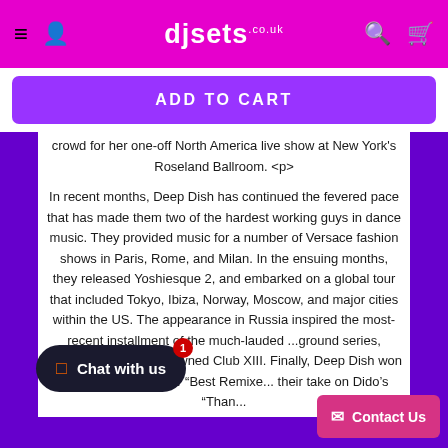djsets.co.uk
ADD TO CART
crowd for her one-off North America live show at New York's Roseland Ballroom. <p>

In recent months, Deep Dish has continued the fevered pace that has made them two of the hardest working guys in dance music. They provided music for a number of Versace fashion shows in Paris, Rome, and Milan. In the ensuing months, they released Yoshiesque 2, and embarked on a global tour that included Tokyo, Ibiza, Norway, Moscow, and major cities within the US. The appearance in Russia inspired the most-recent installment of the much-lauded ...ground series, featuring the guys at ...wned Club XIII. Finally, Deep Dish won their first Grammy for "Best Remixe... their take on Dido's "Than...